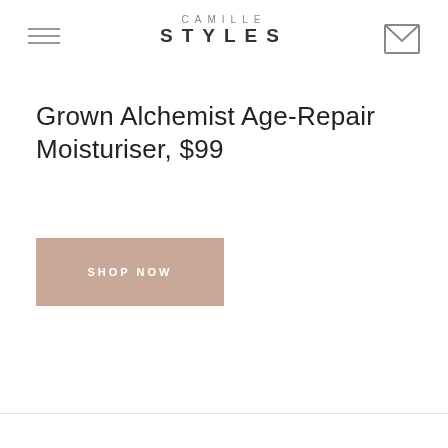CAMILLE STYLES
Grown Alchemist Age-Repair Moisturiser, $99
SHOP NOW